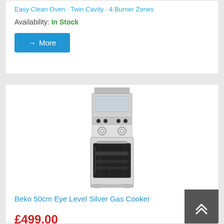Easy Clean Oven · Twin Cavity · 4 Burner Zones
Availability: In Stock
→ More
[Figure (photo): Beko 50cm Eye Level Silver Gas Cooker product photo showing a freestanding silver gas cooker with eye-level grill/oven at top and main oven below, 4 burner hob]
Beko 50cm Eye Level Silver Gas Cooker
£499.00